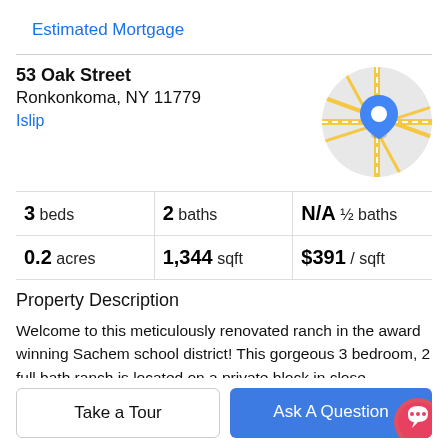Estimated Mortgage
53 Oak Street
Ronkonkoma, NY 11779
Islip
[Figure (map): Circular map thumbnail showing a street map with a blue location pin marker]
3 beds | 2 baths | N/A ½ baths
0.2 acres | 1,344 sqft | $391 / sqft
Property Description
Welcome to this meticulously renovated ranch in the award winning Sachem school district! This gorgeous 3 bedroom, 2 full bath ranch is located on a private block in close proximity to schools, shopping, restaurants, LIRR,
airport and more! This home has been renovated fro...
Take a Tour
Ask A Question